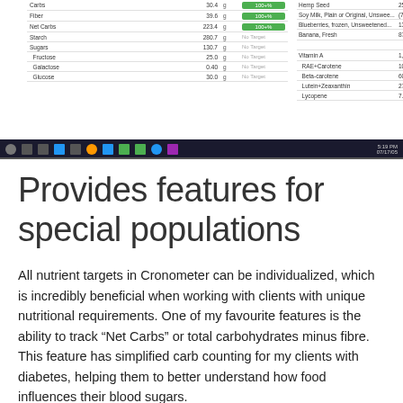[Figure (screenshot): Screenshot of Cronometer application showing a nutrient tracking table with items like Carbs, Fiber, Net Carbs, Starch, Sugars, Fructose, Galactose, Glucose listed with values and green progress bars, alongside a Windows taskbar at the bottom.]
Provides features for special populations
All nutrient targets in Cronometer can be individualized, which is incredibly beneficial when working with clients with unique nutritional requirements. One of my favourite features is the ability to track "Net Carbs" or total carbohydrates minus fibre. This feature has simplified carb counting for my clients with diabetes, helping them to better understand how food influences their blood sugars.